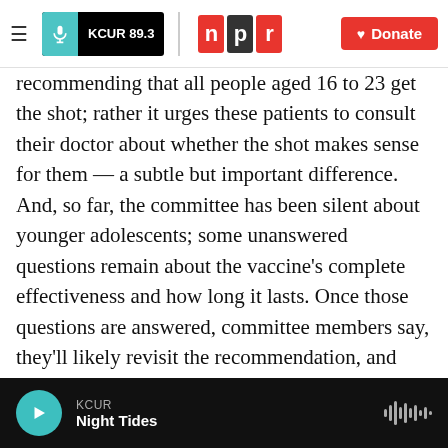[Figure (logo): KCUR 89.3 and NPR logos with Donate button navigation bar]
recommending that all people aged 16 to 23 get the shot; rather it urges these patients to consult their doctor about whether the shot makes sense for them — a subtle but important difference. And, so far, the committee has been silent about younger adolescents; some unanswered questions remain about the vaccine's complete effectiveness and how long it lasts. Once those questions are answered, committee members say, they'll likely revisit the recommendation, and perhaps suggest expanding it further.

Copyright 2020 NPR. To see more, visit
[Figure (other): KCUR audio player bar at bottom with play button and Night Tides show title]